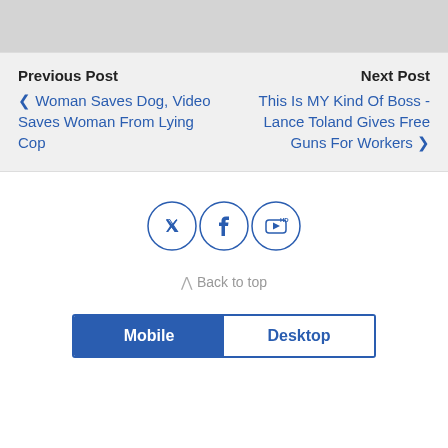[Figure (other): Gray header bar at top of page]
Previous Post
< Woman Saves Dog, Video Saves Woman From Lying Cop
Next Post
This Is MY Kind Of Boss - Lance Toland Gives Free Guns For Workers >
[Figure (other): Social media icons: Twitter, Facebook, YouTube in circles]
Back to top
Mobile  Desktop